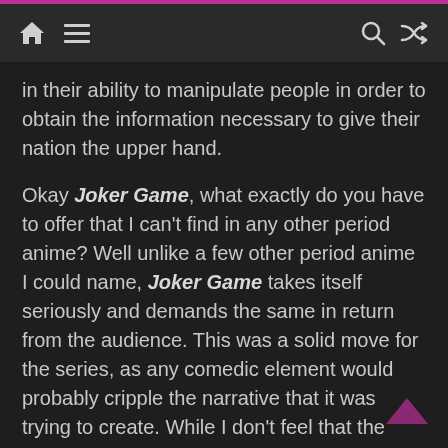[ home ] [ menu ] [ search ] [ shuffle ]
in their ability to manipulate people in order to obtain the information necessary to give their nation the upper hand.
Okay Joker Game, what exactly do you have to offer that I can't find in any other period anime? Well unlike a few other period anime I could name, Joker Game takes itself seriously and demands the same in return from the audience. This was a solid move for the series, as any comedic element would probably cripple the narrative that it was trying to create. While I don't feel that the episodic nature of this show works this time around, it does showcase very different missions across the spectrum of practicality. Sometimes it works out in their favor, but the